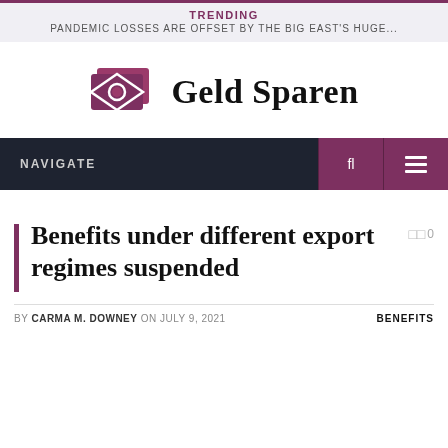TRENDING
PANDEMIC LOSSES ARE OFFSET BY THE BIG EAST'S HUGE...
[Figure (logo): Geld Sparen logo: stylized money icon in dark red/purple with text 'Geld Sparen' in bold serif font]
NAVIGATE
Benefits under different export regimes suspended
BY CARMA M. DOWNEY ON JULY 9, 2021   BENEFITS